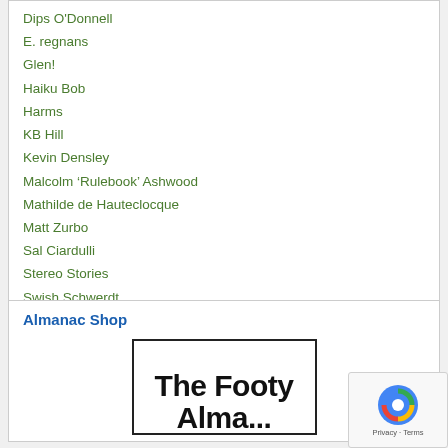Dips O'Donnell
E. regnans
Glen!
Haiku Bob
Harms
KB Hill
Kevin Densley
Malcolm ‘Rulebook’ Ashwood
Mathilde de Hauteclocque
Matt Zurbo
Sal Ciardulli
Stereo Stories
Swish Schwerdt
Yvette Wroby
1975 A Season in the Country
Almanac Shop
[Figure (illustration): The Footy Almanac book cover showing bold black text 'The Footy' on line 1 and 'Alma...' on line 2, inside a bordered box]